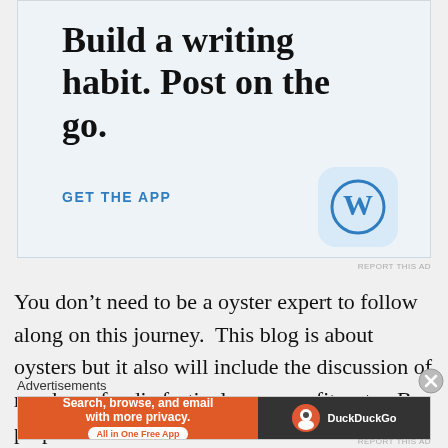[Figure (screenshot): WordPress app advertisement with light blue background. Large serif bold text reads 'Build a writing habit. Post on the go.' with a 'GET THE APP' call-to-action link and WordPress 'W' logo icon in bottom right corner.]
REPORT THIS AD
You don’t need to be a oyster expert to follow along on this journey.  This blog is about oysters but it also will include the discussion of raw bars, foodie festivals, non-profits, etc.  Be prepared to read about the worlds fastest
Advertisements
[Figure (screenshot): DuckDuckGo advertisement banner. Left orange section reads 'Search, browse, and email with more privacy. All in One Free App'. Right dark section shows DuckDuckGo logo and name.]
REPORT THIS AD